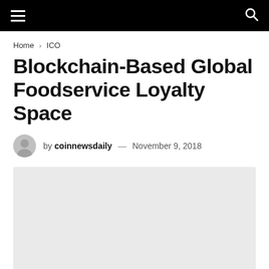Navigation bar with hamburger menu and search icon
Home › ICO
Blockchain-Based Global Foodservice Loyalty Space
by coinnewsdaily — November 9, 2018
[Figure (photo): Featured article image placeholder (light grey rectangle)]